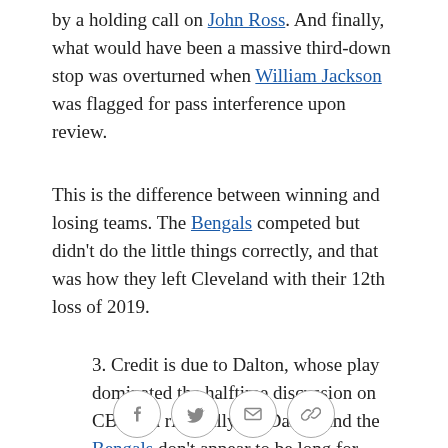by a holding call on John Ross. And finally, what would have been a massive third-down stop was overturned when William Jackson was flagged for pass interference upon review.
This is the difference between winning and losing teams. The Bengals competed but didn't do the little things correctly, and that was how they left Cleveland with their 12th loss of 2019.
3. Credit is due to Dalton, whose play dominated the halftime discussion on CBS and rightfully so. Dalton and the Bengals don't appear to be long for each other, but he'll make a QB-needy team happy elsewhere. He completed 22 of 38 passes for 262 yards and an interception, and yes, he had a few misses, but the
[social share icons: Facebook, Twitter, Email, Link]